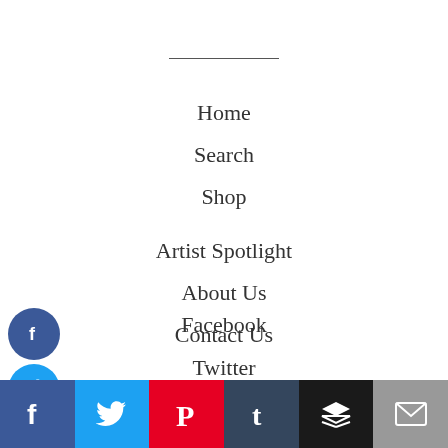Home
Search
Shop
Artist Spotlight
About Us
Contact Us
Facebook
Twitter
Pinterest
Instagram
[Figure (infographic): Bottom social sharing bar with Facebook (blue), Twitter (light blue), Pinterest (red), Tumblr (dark blue), Buffer (black), and Email (gray) buttons with white icons]